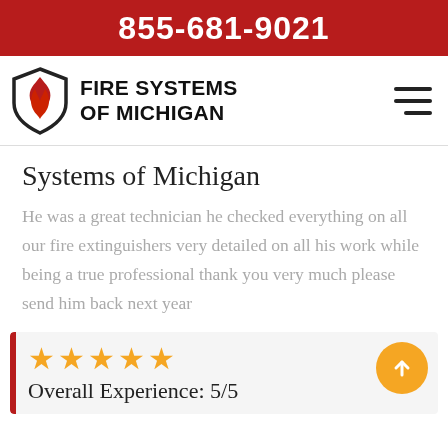855-681-9021
[Figure (logo): Fire Systems of Michigan logo with shield and flame icon]
Systems of Michigan
He was a great technician he checked everything on all our fire extinguishers very detailed on all his work while being a true professional thank you very much please send him back next year
[Figure (infographic): Review card with 5 gold stars and text 'Overall Experience: 5/5' with orange up-arrow button]
Overall Experience: 5/5